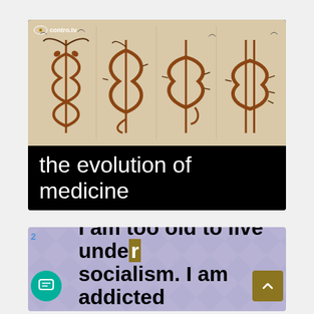[Figure (illustration): Illustration showing the 'evolution of medicine' — four stages depicted as drawings: first a caduceus/rod of Asclepius with two snakes, then progressively transforming into a dollar sign ($). A watermark 'contro.tv' appears in the top-left of the image.]
the evolution of medicine
I am too old to live under socialism. I am addicted